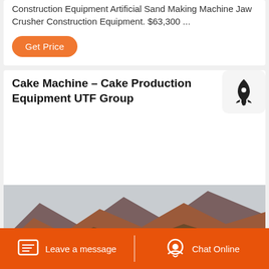Construction Equipment Artificial Sand Making Machine Jaw Crusher Construction Equipment. $63,300 ...
Get Price
Cake Machine - Cake Production Equipment UTF Group
[Figure (photo): Mountain landscape with forested hills covered in autumn foliage, with a building or structure visible at the lower right]
Leave a message   Chat Online